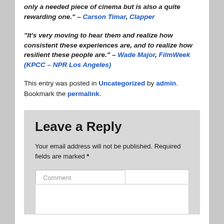“only a needed piece of cinema but is also a quite rewarding one.” – Carson Timar, Clapper
“It’s very moving to hear them and realize how consistent these experiences are, and to realize how resilient these people are.” – Wade Major, FilmWeek (KPCC – NPR Los Angeles)
This entry was posted in Uncategorized by admin. Bookmark the permalink.
Leave a Reply
Your email address will not be published. Required fields are marked *